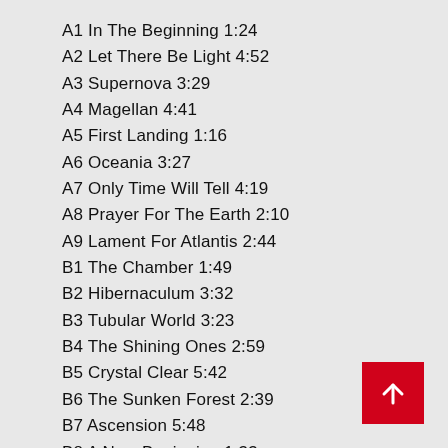A1 In The Beginning 1:24
A2 Let There Be Light 4:52
A3 Supernova 3:29
A4 Magellan 4:41
A5 First Landing 1:16
A6 Oceania 3:27
A7 Only Time Will Tell 4:19
A8 Prayer For The Earth 2:10
A9 Lament For Atlantis 2:44
B1 The Chamber 1:49
B2 Hibernaculum 3:32
B3 Tubular World 3:23
B4 The Shining Ones 2:59
B5 Crystal Clear 5:42
B6 The Sunken Forest 2:39
B7 Ascension 5:48
B8 A New Beginning 1:33
[Figure (other): Red square button with white upward arrow icon]